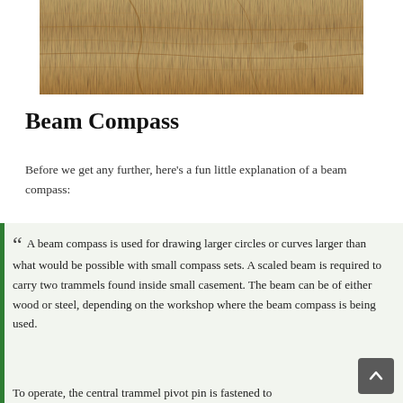[Figure (photo): Photograph of wood grain texture, light brown tones with natural grain lines.]
Beam Compass
Before we get any further, here’s a fun little explanation of a beam compass:
A beam compass is used for drawing larger circles or curves larger than what would be possible with small compass sets. A scaled beam is required to carry two trammels found inside small casement. The beam can be of either wood or steel, depending on the workshop where the beam compass is being used.
To operate, the central trammel pivot pin is fastened to